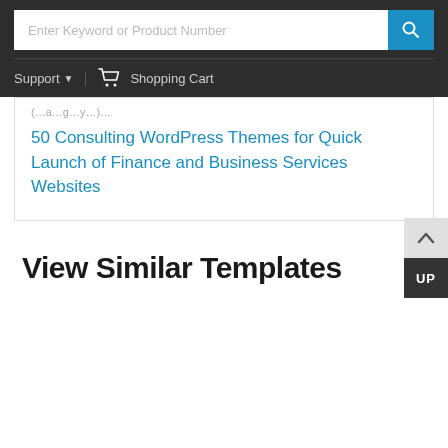Enter Keyword or Product Number
Support | Shopping Cart
50 Consulting WordPress Themes for Quick Launch of Finance and Business Services Websites
View Similar Templates